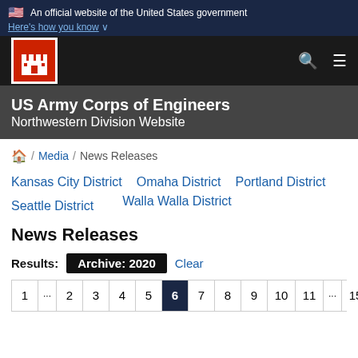🇺🇸 An official website of the United States government
Here's how you know ∨
[Figure (logo): US Army Corps of Engineers castle logo in red box with navigation icons]
US Army Corps of Engineers
Northwestern Division Website
🏠 / Media / News Releases
Kansas City District
Omaha District
Portland District
Seattle District
Walla Walla District
News Releases
Results: Archive: 2020  Clear
1 … 2 3 4 5 6 7 8 9 10 11 … 15